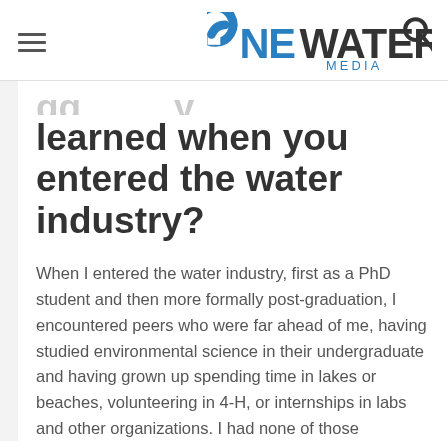OneWater Media
learned when you entered the water industry?
When I entered the water industry, first as a PhD student and then more formally post-graduation, I encountered peers who were far ahead of me, having studied environmental science in their undergraduate and having grown up spending time in lakes or beaches, volunteering in 4-H, or internships in labs and other organizations. I had none of those